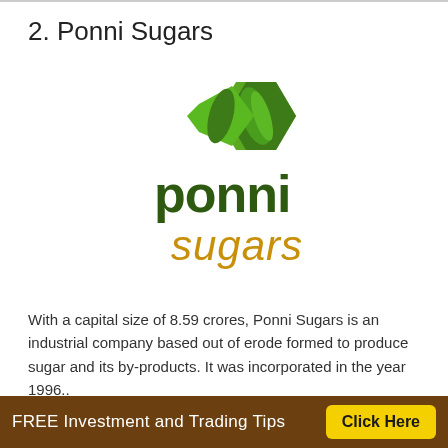2. Ponni Sugars
[Figure (logo): Ponni Sugars logo with green polygonal leaf/sugar crystal icon above the word 'ponni' in dark green and 'sugars' in golden/amber italic text]
With a capital size of 8.59 crores, Ponni Sugars is an industrial company based out of erode formed to produce sugar and its by-products. It was incorporated in the year 1996..
Plus points
FREE Investment and Trading Tips  Click Here